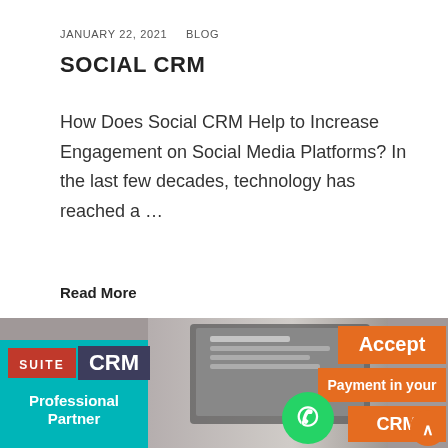JANUARY 22, 2021   BLOG
SOCIAL CRM
How Does Social CRM Help to Increase Engagement on Social Media Platforms? In the last few decades, technology has reached a ...
Read More
[Figure (infographic): SuiteCRM Professional Partner banner with teal background on left side showing 'SUITE CRM' logo, and a photo of a laptop on the right side with orange overlays reading 'Accept', 'Payment in your CRM', and a WhatsApp-style icon. An orange scroll-to-top button in bottom right.]